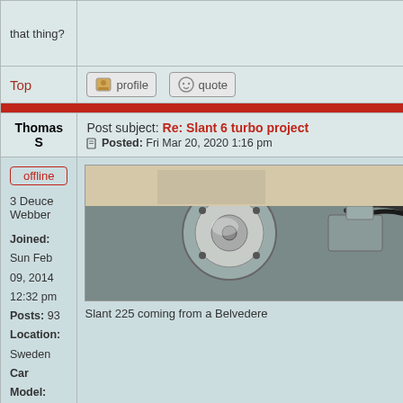that thing?
Top
[Figure (screenshot): Profile button with user icon]
[Figure (screenshot): Quote button with smiley icon]
Thomas S
Post subject: Re: Slant 6 turbo project
Posted: Fri Mar 20, 2020 1:16 pm
offline
3 Deuce Webber
Joined: Sun Feb 09, 2014 12:32 pm
Posts: 93
Location: Sweden
Car Model: Valiant -66 turbo
[Figure (photo): Engine photo showing turbo components on a Slant 6 engine]
Slant 225 coming from a Belvedere